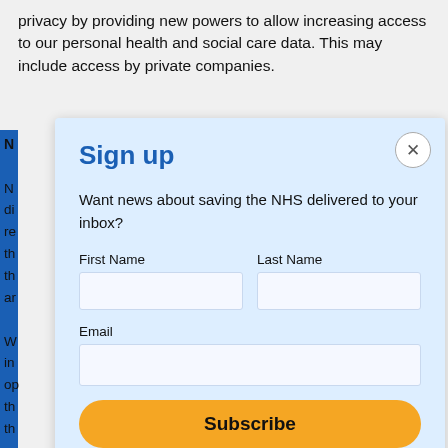privacy by providing new powers to allow increasing access to our personal health and social care data. This may include access by private companies.
[Figure (screenshot): A sign-up modal dialog overlay on a webpage. The modal has a light blue background and contains a title 'Sign up', a description 'Want news about saving the NHS delivered to your inbox?', form fields for First Name, Last Name, and Email, a yellow Subscribe button, and unsubscribe disclaimer text. Behind the modal is a blue vertical bar and partially visible article text.]